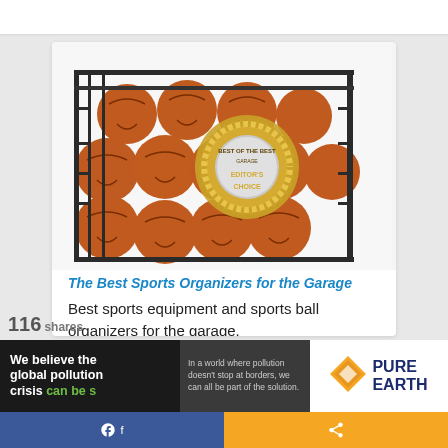[Figure (photo): A metal rack/cage filled with basketballs, with a gold 'Editor's Choice' badge medallion in the lower right corner of the image.]
The Best Sports Organizers for the Garage
Best sports equipment and sports ball organizers for the garage.
Learn More
[Figure (infographic): Advertisement banner: 'We believe the global pollution crisis can be s[olved]' with Pure Earth logo. Facebook share button and share icon visible.]
116 shares